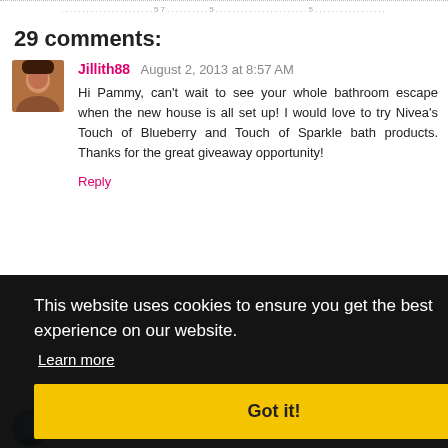.....................57..........5.....................5.................
29 comments:
Jillith88   August 2, 2013 at 8:57 AM
Hi Pammy, can't wait to see your whole bathroom escape when the new house is all set up! I would love to try Nivea's Touch of Blueberry and Touch of Sparkle bath products. Thanks for the great giveaway opportunity!
Reply
This website uses cookies to ensure you get the best experience on our website.
Learn more
Got it!
ath, and
I am excited to try that shower gel!